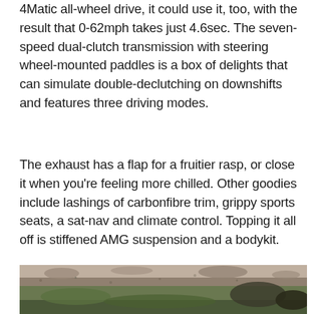4Matic all-wheel drive, it could use it, too, with the result that 0-62mph takes just 4.6sec. The seven-speed dual-clutch transmission with steering wheel-mounted paddles is a box of delights that can simulate double-declutching on downshifts and features three driving modes.
The exhaust has a flap for a fruitier rasp, or close it when you're feeling more chilled. Other goodies include lashings of carbonfibre trim, grippy sports seats, a sat-nav and climate control. Topping it all off is stiffened AMG suspension and a bodykit.
[Figure (photo): Outdoor landscape photo showing rocky moorland terrain with green mossy grass and brown earth, photographed from a low angle. The scene appears to be open countryside or hillside.]